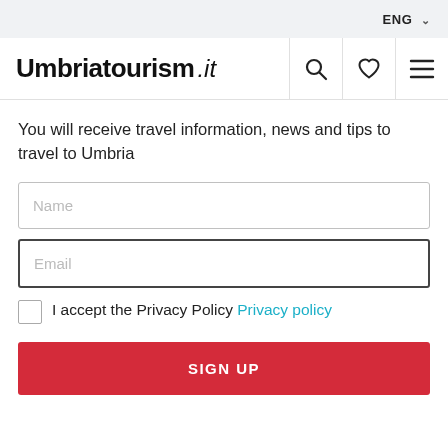ENG
Umbriatourism .it
You will receive travel information, news and tips to travel to Umbria
Name
Email
I accept the Privacy Policy Privacy policy
SIGN UP